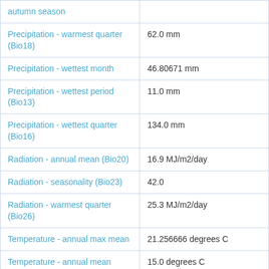| Variable | Value |
| --- | --- |
| autumn season |  |
| Precipitation - warmest quarter (Bio18) | 62.0 mm |
| Precipitation - wettest month | 46.80671 mm |
| Precipitation - wettest period (Bio13) | 11.0 mm |
| Precipitation - wettest quarter (Bio16) | 134.0 mm |
| Radiation - annual mean (Bio20) | 16.9 MJ/m2/day |
| Radiation - seasonality (Bio23) | 42.0 |
| Radiation - warmest quarter (Bio26) | 25.3 MJ/m2/day |
| Temperature - annual max mean | 21.256666 degrees C |
| Temperature - annual mean (Bio01) | 15.0 degrees C |
| Temperature - annual min mean | 7.66 degrees C |
| Temperature - ... | 21.123333 degrees C |